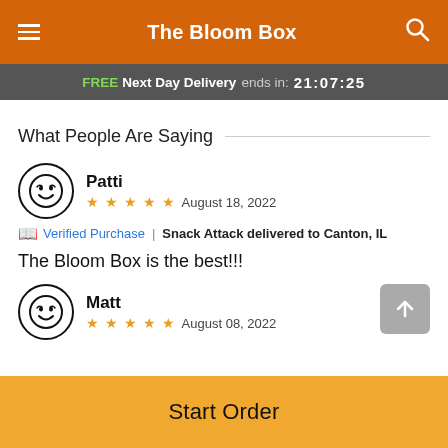The Bloom Box
FREE Next Day Delivery ends in: 21:07:25
What People Are Saying
Patti
★★★★★ August 18, 2022
📖 Verified Purchase | Snack Attack delivered to Canton, IL
The Bloom Box is the best!!!
Matt
★★★★★ August 08, 2022
Start Order